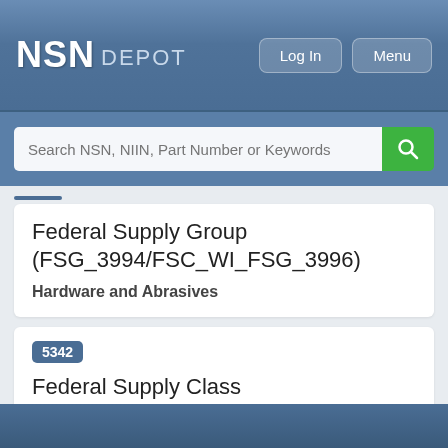NSN DEPOT
[Figure (screenshot): Search bar with placeholder text 'Search NSN, NIIN, Part Number or Keywords' and a green search button]
Federal Supply Group (FSG_3994/FSC_WI_FSG_3996)
Hardware and Abrasives
5342
Federal Supply Class (FSC_3994/FSC_WI_FSC_3996)
Hardware, Weapon System